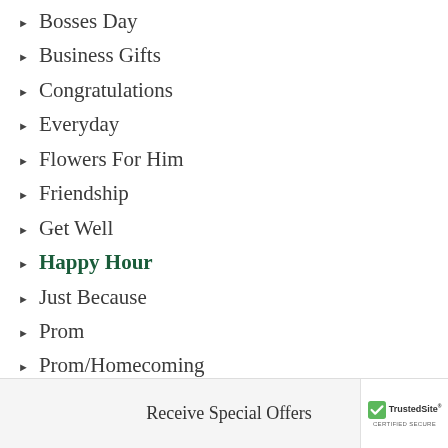Bosses Day
Business Gifts
Congratulations
Everyday
Flowers For Him
Friendship
Get Well
Happy Hour
Just Because
Prom
Prom/Homecoming
Romance
Thank You
Thinking Of You
Receive Special Offers